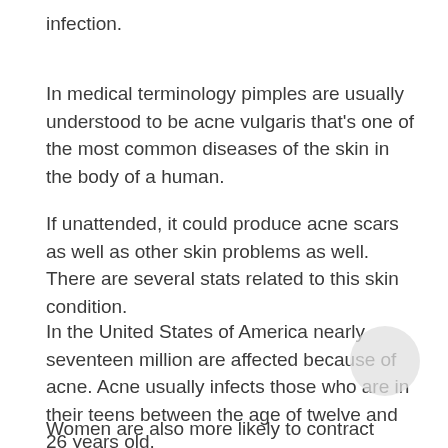infection.
In medical terminology pimples are usually understood to be acne vulgaris that's one of the most common diseases of the skin in the body of a human.
If unattended, it could produce acne scars as well as other skin problems as well. There are several stats related to this skin condition.
In the United States of America nearly seventeen million are affected because of acne. Acne usually infects those who are in their teens between the age of twelve and 26 years old.
Women are also more likely to contract acne in